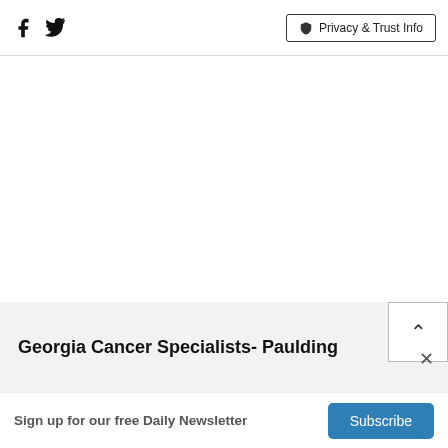Facebook Twitter | Privacy & Trust Info
Georgia Cancer Specialists- Paulding
Sign up for our free Daily Newsletter
Subscribe